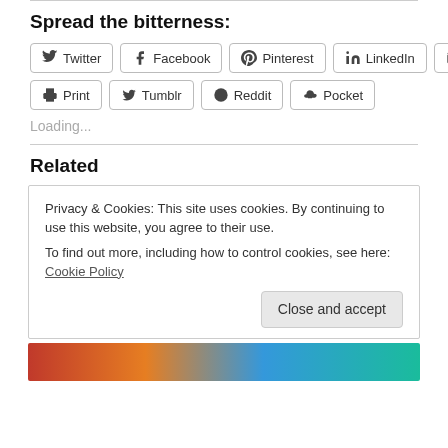Spread the bitterness:
[Figure (other): Social share buttons: Twitter, Facebook, Pinterest, LinkedIn, Email, Print, Tumblr, Reddit, Pocket]
Loading...
Related
Privacy & Cookies: This site uses cookies. By continuing to use this website, you agree to their use.
To find out more, including how to control cookies, see here: Cookie Policy
[Figure (photo): Partial image at bottom of page, colorful blurred background]